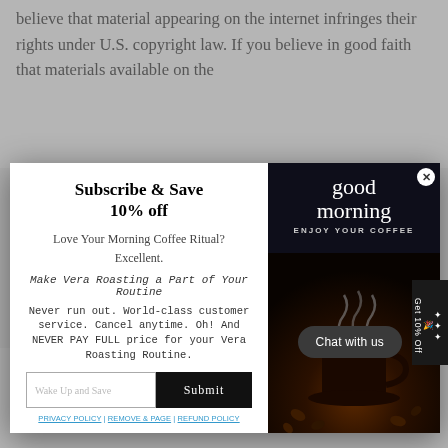believe that material appearing on the internet infringes their rights under U.S. copyright law. If you believe in good faith that materials available on the
[Figure (screenshot): Subscribe & Save 10% off modal popup with left white panel containing subscription form and right dark panel showing coffee cup with 'good morning ENJOY YOUR COFFEE' text]
LIMITATION OF LIABILITY